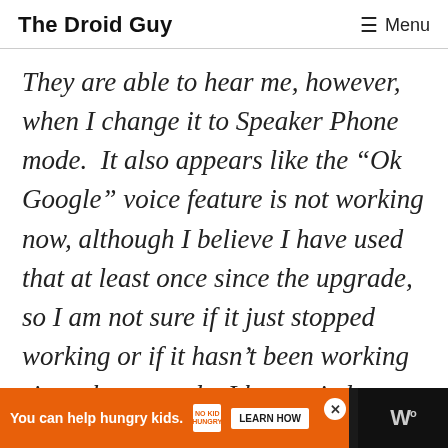The Droid Guy  ☰ Menu
They are able to hear me, however, when I change it to Speaker Phone mode.  It also appears like the “Ok Google” voice feature is not working now, although I believe I have used that at least once since the upgrade, so I am not sure if it just stopped working or if it hasn’t been working since the upgrade. I have tried “Wiping the Cache” based on online
[Figure (other): Advertisement banner: orange background with 'You can help hungry kids.' text, No Kid Hungry logo, Learn How button, close X button, and dark right panel with stylized 'W' logo]